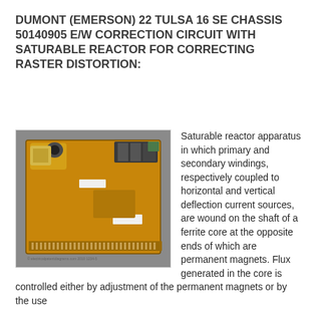DUMONT (EMERSON) 22 TULSA 16 SE CHASSIS 50140905 E/W CORRECTION CIRCUIT WITH SATURABLE REACTOR FOR CORRECTING RASTER DISTORTION:
[Figure (photo): Photograph of an orange/yellow circuit board (E/W correction circuit with saturable reactor) showing various electronic components including capacitors, inductors, transformers, and connectors on a PCB.]
Saturable reactor apparatus in which primary and secondary windings, respectively coupled to horizontal and vertical deflection current sources, are wound on the shaft of a ferrite core at the opposite ends of which are permanent magnets. Flux generated in the core is controlled either by adjustment of the permanent magnets or by the use